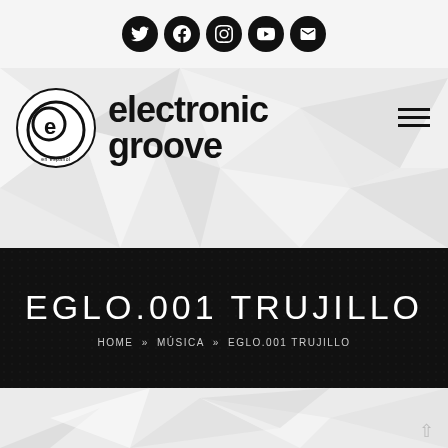[Figure (logo): Social media icons bar: Twitter, Facebook, Instagram, YouTube, Email — black circle icons on light gray background]
[Figure (logo): Electronic Groove logo — circular 'eg' icon with spiral, bold text 'electronic groove en español' on geometric polygon background with hamburger menu icon]
EGLO.001 TRUJILLO
HOME » MÚSICA » EGLO.001 TRUJILLO
[Figure (illustration): Light gray geometric polygon/triangular faceted background pattern]